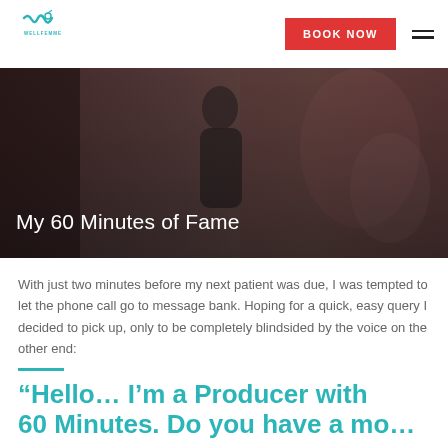WELLFEMME — BOOK NOW
[Figure (photo): Woman in dark patterned clothing standing in front of large colorful artwork in a gallery. Dark overlay on image. Title 'My 60 Minutes of Fame' overlaid at bottom left.]
My 60 Minutes of Fame
With just two minutes before my next patient was due, I was tempted to let the phone call go to message bank. Hoping for a quick, easy query I decided to pick up, only to be completely blindsided by the voice on the other end:
“Hello… I’m a Producer with 60 Minutes. Do you have a moment…”